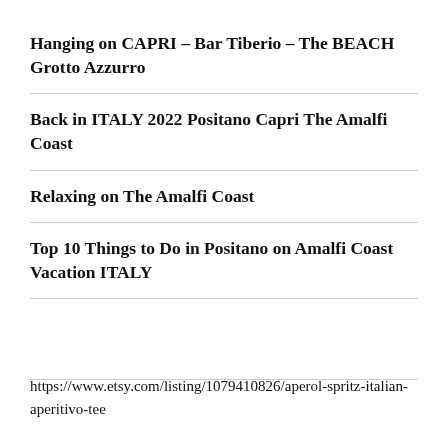Hanging on CAPRI – Bar Tiberio – The BEACH Grotto Azzurro
Back in ITALY 2022 Positano Capri The Amalfi Coast
Relaxing on The Amalfi Coast
Top 10 Things to Do in Positano on Amalfi Coast Vacation ITALY
https://www.etsy.com/listing/1079410826/aperol-spritz-italian-aperitivo-tee